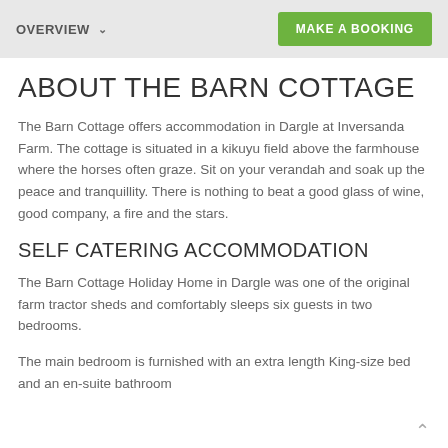OVERVIEW    MAKE A BOOKING
ABOUT THE BARN COTTAGE
The Barn Cottage offers accommodation in Dargle at Inversanda Farm. The cottage is situated in a kikuyu field above the farmhouse where the horses often graze. Sit on your verandah and soak up the peace and tranquillity. There is nothing to beat a good glass of wine, good company, a fire and the stars.
SELF CATERING ACCOMMODATION
The Barn Cottage Holiday Home in Dargle was one of the original farm tractor sheds and comfortably sleeps six guests in two bedrooms.
The main bedroom is furnished with an extra length King-size bed and an en-suite bathroom